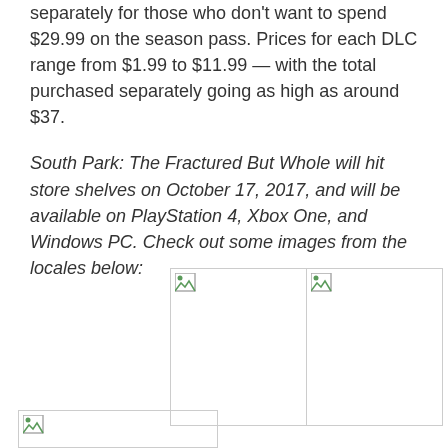separately for those who don't want to spend $29.99 on the season pass. Prices for each DLC range from $1.99 to $11.99 — with the total purchased separately going as high as around $37.
South Park: The Fractured But Whole will hit store shelves on October 17, 2017, and will be available on PlayStation 4, Xbox One, and Windows PC. Check out some images from the locales below:
[Figure (photo): Two image placeholders side by side in a bordered table row (broken image icons visible)]
[Figure (photo): One image placeholder at bottom left (broken image icon visible, partial)]